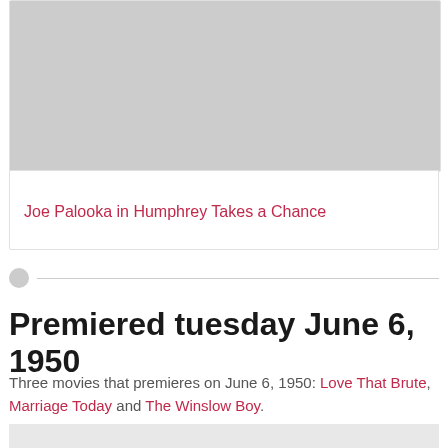[Figure (photo): Gray image placeholder card at the top of the page]
Joe Palooka in Humphrey Takes a Chance
Premiered tuesday June 6, 1950
Three movies that premieres on June 6, 1950: Love That Brute, Marriage Today and The Winslow Boy.
[Figure (photo): Partial photo visible at the bottom of the page]